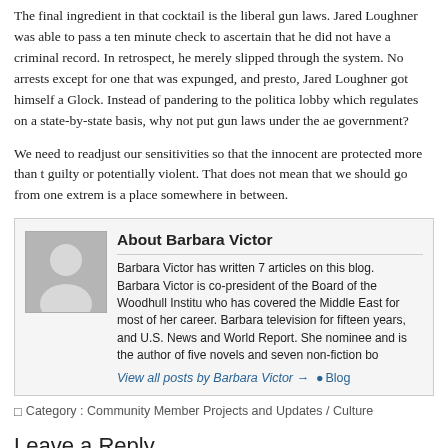The final ingredient in that cocktail is the liberal gun laws. Jared Loughner was able to pass a ten minute check to ascertain that he did not have a criminal record. In retrospect, he merely slipped through the system. No arrests except for one that was expunged, no convictions, and presto, Jared Loughner got himself a Glock. Instead of pandering to the political gun lobby which regulates on a state-by-state basis, why not put gun laws under the aegis of the federal government?
We need to readjust our sensitivities so that the innocent are protected more than those who are guilty or potentially violent. That does not mean that we should go from one extreme to another. There is a place somewhere in between.
About Barbara Victor
Barbara Victor has written 7 articles on this blog.
Barbara Victor is co-president of the Board of the Woodhull Institute who has covered the Middle East for most of her career. Barbara television for fifteen years, and U.S. News and World Report. She nominee and is the author of five novels and seven non-fiction bo
View all posts by Barbara Victor → •Blog
Category : Community Member Projects and Updates / Culture
Leave a Reply